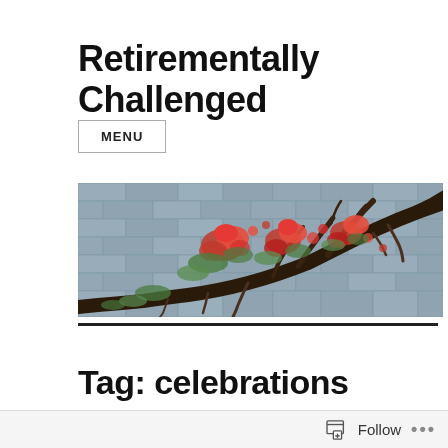Retirementally Challenged
MENU
[Figure (photo): A tree branch with red flowers against a blue-grey stone brick wall background]
Tag: celebrations
Follow ...